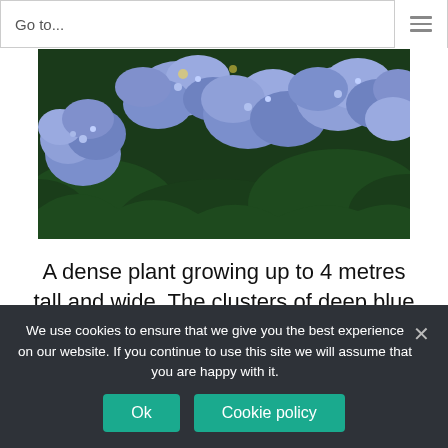Go to...
[Figure (photo): Close-up photograph of dense clusters of deep blue/purple flowers (Ceanothus) against dark green foliage.]
A dense plant growing up to 4 metres tall and wide. The clusters of deep blue flowers that bloom in late spring are sure to add some texture near a wall if planted in a sheltered spot in full sun.
We use cookies to ensure that we give you the best experience on our website. If you continue to use this site we will assume that you are happy with it.